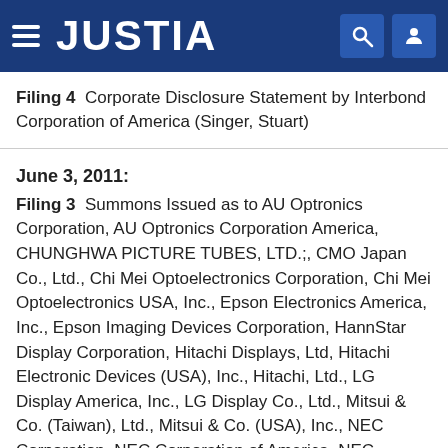JUSTIA
Filing 4  Corporate Disclosure Statement by Interbond Corporation of America (Singer, Stuart)
June 3, 2011: Filing 3  Summons Issued as to AU Optronics Corporation, AU Optronics Corporation America, CHUNGHWA PICTURE TUBES, LTD.;, CMO Japan Co., Ltd., Chi Mei Optoelectronics Corporation, Chi Mei Optoelectronics USA, Inc., Epson Electronics America, Inc., Epson Imaging Devices Corporation, HannStar Display Corporation, Hitachi Displays, Ltd, Hitachi Electronic Devices (USA), Inc., Hitachi, Ltd., LG Display America, Inc., LG Display Co., Ltd., Mitsui & Co. (Taiwan), Ltd., Mitsui & Co. (USA), Inc., NEC Corporation, NEC Corporation of America, NEC DISPLAY SOLUTIONS OF AMERICA, INC., NEC Electronics America, Inc., NEC LCD Technologies, Ltd,